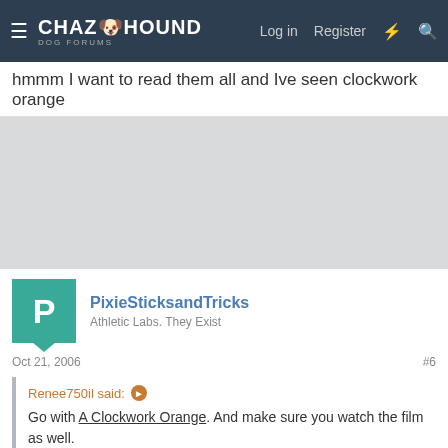ChaZ Hound Dog Forums — Log in | Register
hmmm I want to read them all and Ive seen clockwork orange
[Figure (other): Grey advertisement or spacer area]
PixieSticksandTricks
Athletic Labs. They Exist
Oct 21, 2006  #6
Renee750il said: Go with A Clockwork Orange. And make sure you watch the film as well.